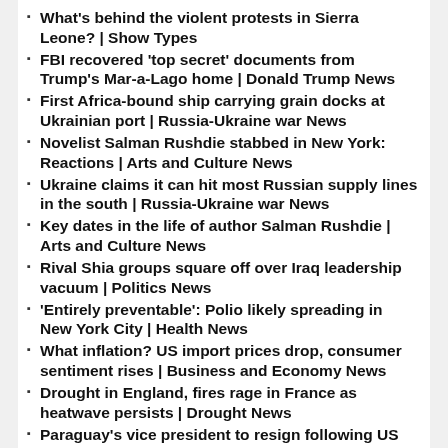What's behind the violent protests in Sierra Leone? | Show Types
FBI recovered 'top secret' documents from Trump's Mar-a-Lago home | Donald Trump News
First Africa-bound ship carrying grain docks at Ukrainian port | Russia-Ukraine war News
Novelist Salman Rushdie stabbed in New York: Reactions | Arts and Culture News
Ukraine claims it can hit most Russian supply lines in the south | Russia-Ukraine war News
Key dates in the life of author Salman Rushdie | Arts and Culture News
Rival Shia groups square off over Iraq leadership vacuum | Politics News
'Entirely preventable': Polio likely spreading in New York City | Health News
What inflation? US import prices drop, consumer sentiment rises | Business and Economy News
Drought in England, fires rage in France as heatwave persists | Drought News
Paraguay's vice president to resign following US